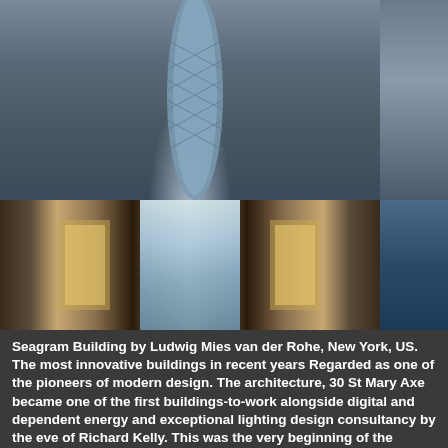[Figure (photo): Aerial view of London cityscape with the Gherkin (30 St Mary Axe) building prominently in the center, surrounded by other skyscrapers]
[Figure (photo): Interior view of a modern building lobby/corridor with warm wood paneling on sides and a bright central corridor with silhouettes of people]
Seagram Building by Ludwig Mies van der Rohe, New York, US. The most innovative buildings in recent years Regarded as one of the pioneers of modern architecture, 30 St Mary Axe became one of the first buildings-to-work alongside digital and dependent energy and exceptional lighting design consultancy by the eve of Richard Kelly. This was the very beginning of the lighting design profession as we know it today, both interior and exterior elements.
Image: William Zbaren
Image: Alev Takil (Unsplash)